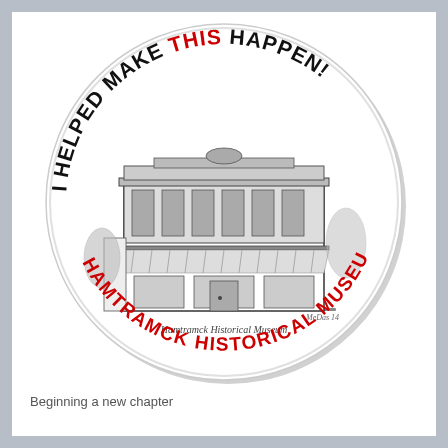[Figure (illustration): A circular button/pin with a white background. Around the top arc, handwritten-style text reads 'I HELPED MAKE THIS HAPPEN!' where 'THIS' is in red and the rest is in black. Along the bottom arc, the text 'HAMTRAMCK HISTORICAL MUSEUM' is written in red handwritten-style lettering. In the center of the button is a black-and-white architectural sketch illustration of a two-story building labeled 'Hamtramck Historical Museum' with a striped awning on the ground floor.]
Beginning a new chapter